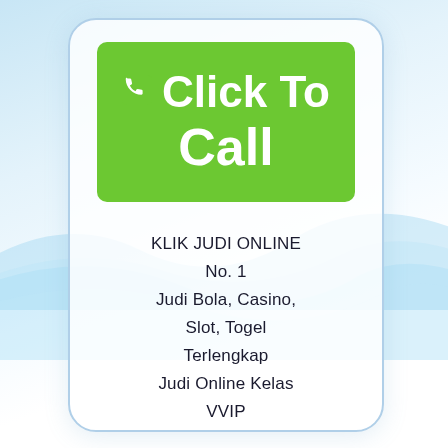[Figure (illustration): Phone/mobile device frame with blue wave background, containing a green 'Click To Call' button with phone icon, and text listing online gambling services in Indonesian.]
Click To Call
KLIK JUDI ONLINE No. 1 Judi Bola, Casino, Slot, Togel Terlengkap Judi Online Kelas VVIP